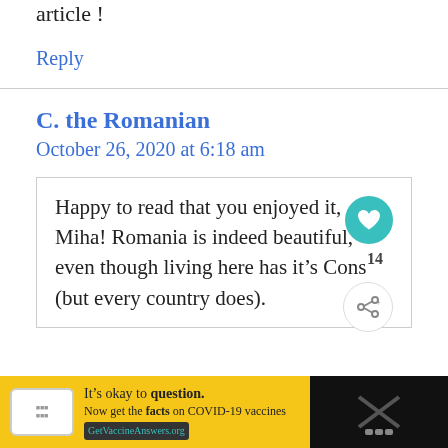article !
Reply
C. the Romanian
October 26, 2020 at 6:18 am
Happy to read that you enjoyed it, Miha! Romania is indeed beautiful, even though living here has it’s Cons (but every country does).
It’s okay to question. Now get the facts on COVID-19 vaccines GetVaccineAnswers.org